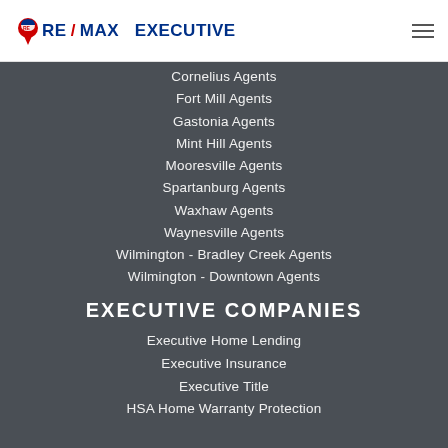RE/MAX EXECUTIVE [logo] [hamburger menu]
Cornelius Agents
Fort Mill Agents
Gastonia Agents
Mint Hill Agents
Mooresville Agents
Spartanburg Agents
Waxhaw Agents
Waynesville Agents
Wilmington - Bradley Creek Agents
Wilmington - Downtown Agents
EXECUTIVE COMPANIES
Executive Home Lending
Executive Insurance
Executive Title
HSA Home Warranty Protection